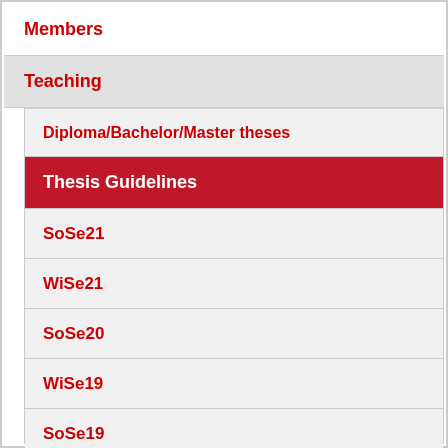Members
Teaching
Diploma/Bachelor/Master theses
Thesis Guidelines
SoSe21
WiSe21
SoSe20
WiSe19
SoSe19
WiSe18